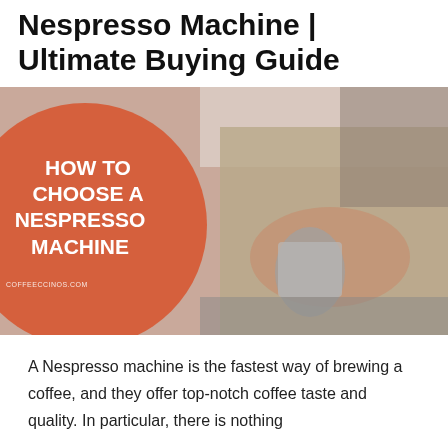Nespresso Machine | Ultimate Buying Guide
[Figure (photo): A barista in an apron holding a metal milk pitcher near an espresso machine, with an orange circle overlay containing text 'HOW TO CHOOSE A NESPRESSO MACHINE' and a coffeeccinos.com watermark.]
A Nespresso machine is the fastest way of brewing a coffee, and they offer top-notch coffee taste and quality. In particular, there is nothing